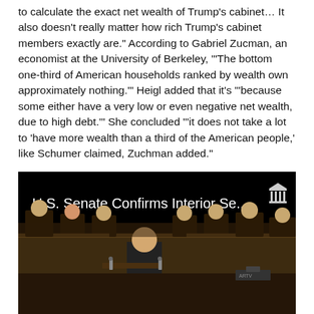to calculate the exact net wealth of Trump's cabinet… It also doesn't really matter how rich Trump's cabinet members exactly are." According to Gabriel Zucman, an economist at the University of Berkeley, "'The bottom one-third of American households ranked by wealth own approximately nothing.'" Heigl added that it's "'because some either have a very low or even negative net wealth, due to high debt.'" She concluded "'it does not take a lot to 'have more wealth than a third of the American people,' like Schumer claimed, Zuchman added."
[Figure (screenshot): Video thumbnail with dark background showing text 'U.S. Senate Confirms Interior Se...' with a library/institution icon in the top right, and a scene of a Senate confirmation hearing below.]